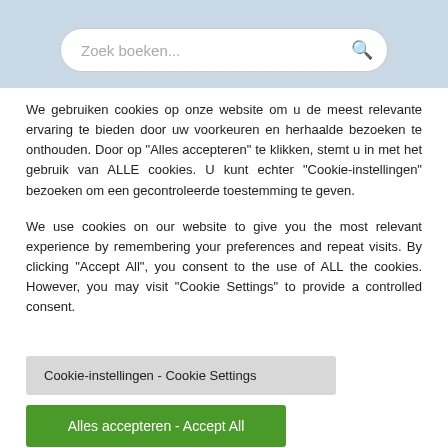[Figure (screenshot): Search bar with placeholder text 'Zoek boeken...' and a search icon, on a light blue-grey header background]
We gebruiken cookies op onze website om u de meest relevante ervaring te bieden door uw voorkeuren en herhaalde bezoeken te onthouden. Door op "Alles accepteren" te klikken, stemt u in met het gebruik van ALLE cookies. U kunt echter "Cookie-instellingen" bezoeken om een gecontroleerde toestemming te geven.
We use cookies on our website to give you the most relevant experience by remembering your preferences and repeat visits. By clicking "Accept All", you consent to the use of ALL the cookies. However, you may visit "Cookie Settings" to provide a controlled consent.
Cookie-instellingen - Cookie Settings
Alles accepteren - Accept All